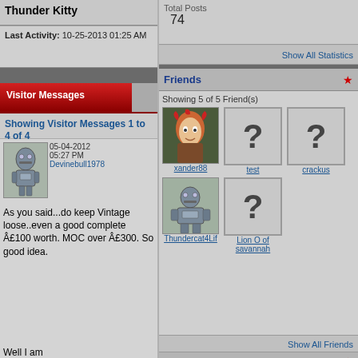Thunder Kitty
Last Activity: 10-25-2013 01:25 AM
Visitor Messages
Showing Visitor Messages 1 to 4 of 4
05-04-2012 05:27 PM Devinebull1978
As you said...do keep Vintage loose..even a good complete Â£100 worth. MOC over Â£300. So good idea.

Well I am
Total Posts
74
Show All Statistics
Friends
Showing 5 of 5 Friend(s)
[Figure (photo): Profile photo of xander88 showing a red-haired cartoon character]
[Figure (photo): Question mark placeholder image for 'test']
[Figure (photo): Question mark placeholder image for 'crackus']
[Figure (photo): Robot character profile photo for Thundercat4Lif]
[Figure (photo): Question mark placeholder image for 'Lion O of savannah']
Show All Friends
Recent Visitors
The last 10 visitor(s) to this page were:
adssse  Captn Cracka  dpcphoto  englishw  fuukonomiko  Madbubbler  nickanu  test  TheCrow  xander88
This page has had 17,872 visits